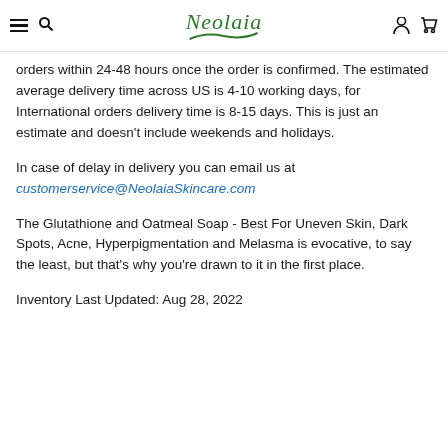Neolaia — navigation header with hamburger menu, search, logo, user icon, and cart icon
orders within 24-48 hours once the order is confirmed. The estimated average delivery time across US is 4-10 working days, for International orders delivery time is 8-15 days. This is just an estimate and doesn't include weekends and holidays.
In case of delay in delivery you can email us at customerservice@NeolaiaSkincare.com
The Glutathione and Oatmeal Soap - Best For Uneven Skin, Dark Spots, Acne, Hyperpigmentation and Melasma is evocative, to say the least, but that's why you're drawn to it in the first place.
Inventory Last Updated: Aug 28, 2022